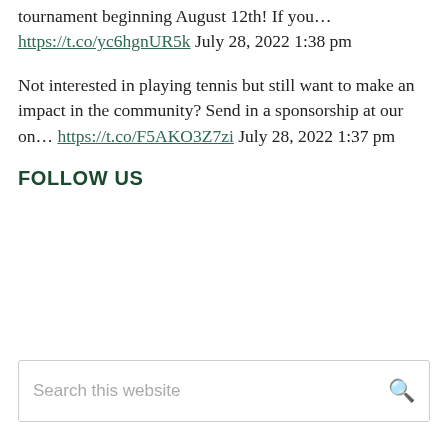tournament beginning August 12th! If you… https://t.co/yc6hgnUR5k July 28, 2022 1:38 pm
Not interested in playing tennis but still want to make an impact in the community? Send in a sponsorship at our on… https://t.co/F5AKO3Z7zi July 28, 2022 1:37 pm
FOLLOW US
Search this website